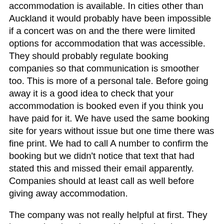accommodation is available. In cities other than Auckland it would probably have been impossible if a concert was on and the there were limited options for accommodation that was accessible. They should probably regulate booking companies so that communication is smoother too. This is more of a personal tale. Before going away it is a good idea to check that your accommodation is booked even if you think you have paid for it. We have used the same booking site for years without issue but one time there was fine print. We had to call A number to confirm the booking but we didn't notice that text that had stated this and missed their email apparently. Companies should at least call as well before giving away accommodation.
The company was not really helpful at first. They kept saying that they would send a key but we then find out four hours after repeatedly contacting them that the accommodation was cancelled. They obviously should have told us that at the beginning. Luckily one room was available late at night at the same hotel, which was an unexpected expense. My sister's friend offered to let us stay but her house was not wheelchair accessible so we would have had to leave the wheelchair at the hotel that we were not staying at. I have trouble sleeping in good circumstances due to pains and looking at a computer screen constantly which keeps me